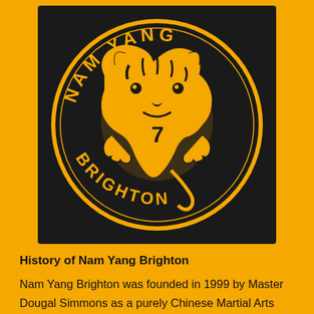[Figure (logo): Nam Yang Brighton circular logo: black background with gold tiger illustration and text 'NAM YANG' at top arc and 'BRIGHTON' at bottom arc]
History of Nam Yang Brighton
Nam Yang Brighton was founded in 1999 by Master Dougal Simmons as a purely Chinese Martial Arts club teaching Shuang Yang Pei Ho, Chi Gong and Shaolin Tiger-Crane combination Kung Fu. Dougal ran Nam Yang